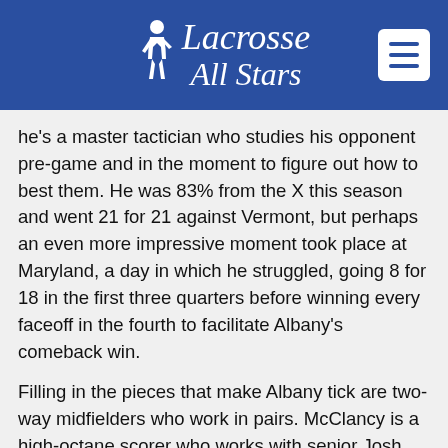Lacrosse All Stars
he's a master tactician who studies his opponent pre-game and in the moment to figure out how to best them. He was 83% from the X this season and went 21 for 21 against Vermont, but perhaps an even more impressive moment took place at Maryland, a day in which he struggled, going 8 for 18 in the first three quarters before winning every faceoff in the fourth to facilitate Albany's comeback win.
Filling in the pieces that make Albany tick are two-way midfielders who work in pairs. McClancy is a high-octane scorer who works with senior Josh Egan, a savvy facilitator; and brothers Jack and Alex Burgmaster work together, bringing lock-down defense and a frenetic style in transition. In an age of specialization, Marr has worked to cultivate the two-way middie teams, who bring field chemistry and a free-